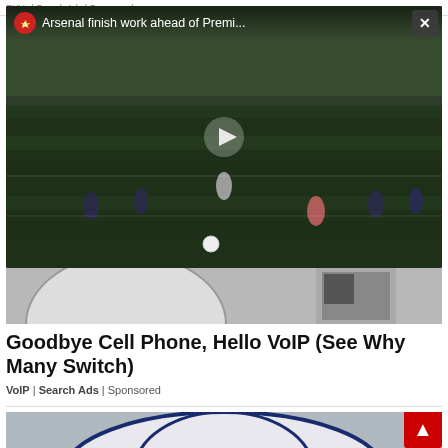SUVs | Search Ads | Sponsored
[Figure (screenshot): Video thumbnail of Arsenal players training on a soccer field with overlay title 'Arsenal finish work ahead of Premi...' and a play button in the center. Arsenal crest logo visible in top-left of video. Close button (X) in top-right corner.]
[Figure (photo): Partial image below the video showing a blurred soccer ball and what appears to be a phone/tablet on the right side]
Goodbye Cell Phone, Hello VoIP (See Why Many Switch)
VoIP | Search Ads | Sponsored
[Figure (photo): Bottom portion showing the top of a soccer ball with blue and white design, partially cropped. Red scroll-to-top arrow button overlaid in bottom-right corner.]